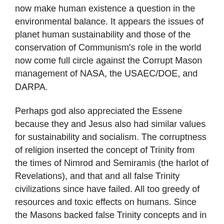now make human existence a question in the environmental balance. It appears the issues of planet human sustainability and those of the conservation of Communism's role in the world now come full circle against the Corrupt Mason management of NASA, the USAEC/DOE, and DARPA.
Perhaps god also appreciated the Essene because they and Jesus also had similar values for sustainability and socialism. The corruptness of religion inserted the concept of Trinity from the times of Nimrod and Semiramis (the harlot of Revelations), and that and all false Trinity civilizations since have failed. All too greedy of resources and toxic effects on humans. Since the Masons backed false Trinity concepts and in fact appear to worship those, the pendulum now swings back toward the truth of religion, where the Essene Community of Mt Carmel was